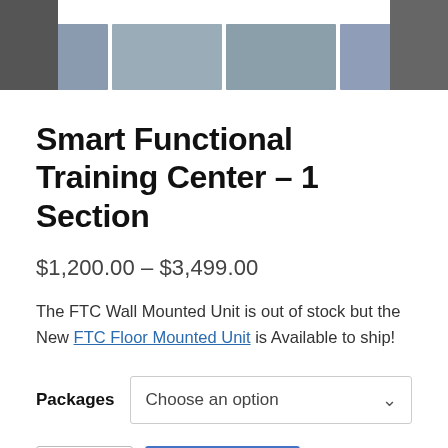[Figure (photo): Product thumbnail images showing Smart Functional Training Center equipment with yellow and blue exercise balls in a gym setting. Partial edge images on left and right, four smaller thumbnails in the center.]
Smart Functional Training Center – 1 Section
$1,200.00 – $3,499.00
The FTC Wall Mounted Unit is out of stock but the New FTC Floor Mounted Unit is Available to ship!
Packages  Choose an option